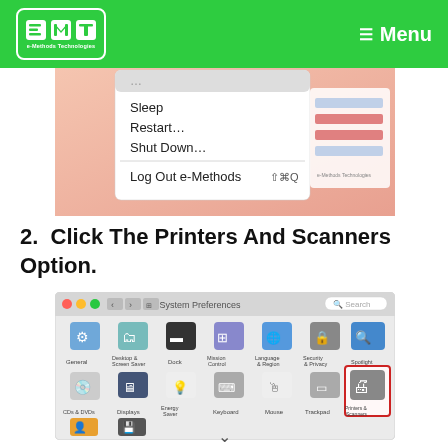e-Methods Technologies — Menu
[Figure (screenshot): macOS Apple menu dropdown showing Sleep, Restart…, Shut Down…, Log Out e-Methods options]
2.  Click The Printers And Scanners Option.
[Figure (screenshot): macOS System Preferences window with Printers & Scanners icon highlighted with a red border]